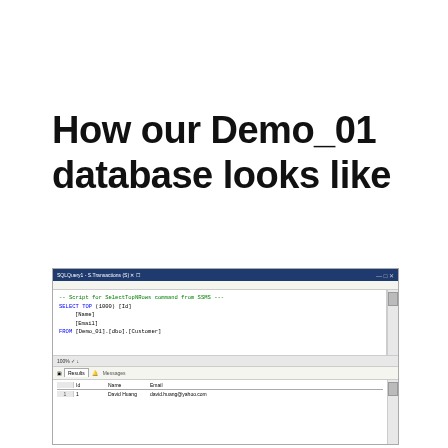How our Demo_01 database looks like
[Figure (screenshot): SQL Server Management Studio screenshot showing a SELECT TOP 1000 query on Demo_01.dbo.Customer table with results displaying Id, Name, Email columns. One result row is visible: 1, David Huang, david.huang@yahoo.com]